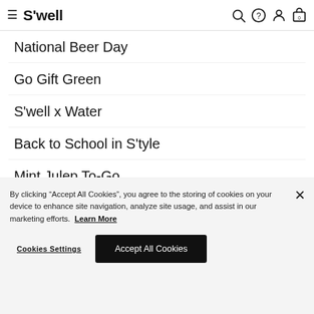S'well — navigation bar with hamburger menu, logo, search, help, account, and cart icons
National Beer Day
Go Gift Green
S'well x Water
Back to School in S'tyle
Mint Julep To-Go
By clicking “Accept All Cookies”, you agree to the storing of cookies on your device to enhance site navigation, analyze site usage, and assist in our marketing efforts. Learn More
Cookies Settings | Accept All Cookies